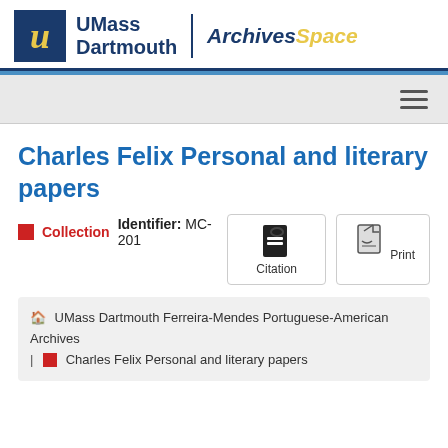UMass Dartmouth | ArchivesSpace
Charles Felix Personal and literary papers
Collection  Identifier: MC-201
Citation  Print
UMass Dartmouth Ferreira-Mendes Portuguese-American Archives | Charles Felix Personal and literary papers